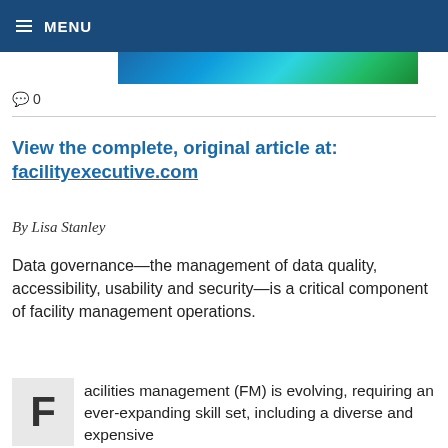≡ MENU
[Figure (photo): Partial view of a technology/data themed header image with blue and green lighting effects]
💬 0
View the complete, original article at: facilityexecutive.com
By Lisa Stanley
Data governance—the management of data quality, accessibility, usability and security—is a critical component of facility management operations.
F acilities management (FM) is evolving, requiring an ever-expanding skill set, including a diverse and expensive